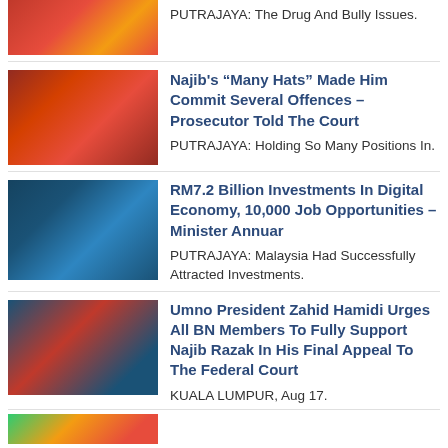[Figure (photo): Partial view of a colorful image at the top of the page (cropped)]
PUTRAJAYA: The Drug And Bully Issues.
[Figure (photo): Large crowd of people in red shirts at a gathering or rally]
Najib's “Many Hats” Made Him Commit Several Offences – Prosecutor Told The Court
PUTRAJAYA: Holding So Many Positions In.
[Figure (photo): Two men seated on chairs in a blue-decorated venue, one in blue shirt]
RM7.2 Billion Investments In Digital Economy, 10,000 Job Opportunities – Minister Annuar
PUTRAJAYA: Malaysia Had Successfully Attracted Investments.
[Figure (photo): Man wearing black songkok and red shirt, looking upward]
Umno President Zahid Hamidi Urges All BN Members To Fully Support Najib Razak In His Final Appeal To The Federal Court
KUALA LUMPUR, Aug 17.
[Figure (photo): Partial image at the bottom of the page (cropped)]